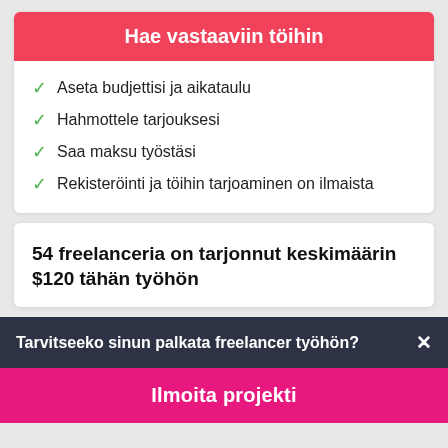Hae vastaaviin töihin
Aseta budjettisi ja aikataulu
Hahmottele tarjouksesi
Saa maksu työstäsi
Rekisteröinti ja töihin tarjoaminen on ilmaista
54 freelanceria on tarjonnut keskimäärin $120 tähän työhön
Tarvitseeko sinun palkata freelancer työhön?
Ilmoita projekti